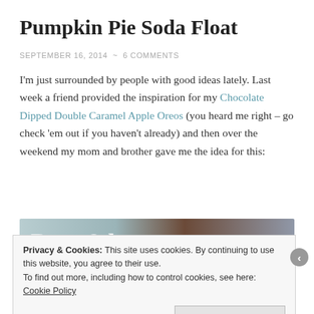Pumpkin Pie Soda Float
SEPTEMBER 16, 2014  ~  6 COMMENTS
I'm just surrounded by people with good ideas lately. Last week a friend provided the inspiration for my Chocolate Dipped Double Caramel Apple Oreos (you heard me right – go check 'em out if you haven't already) and then over the weekend my mom and brother gave me the idea for this:
[Figure (photo): Partial photo of a Pumpkin Pie Soda Float with text overlay beginning with 'Pum...']
Privacy & Cookies: This site uses cookies. By continuing to use this website, you agree to their use. To find out more, including how to control cookies, see here: Cookie Policy
Close and accept